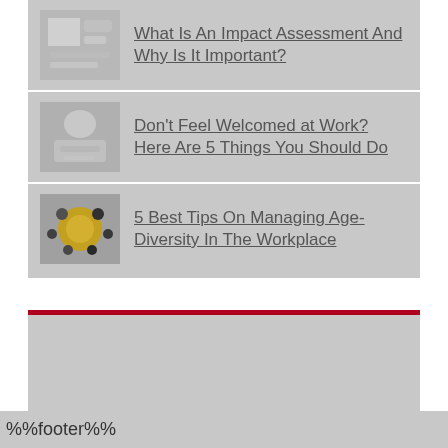What Is An Impact Assessment And Why Is It Important?
Don't Feel Welcomed at Work? Here Are 5 Things You Should Do
5 Best Tips On Managing Age-Diversity In The Workplace
[Figure (other): Gray advertisement block below a dark red horizontal bar]
Powered by WordPress.com.
%%footer%%